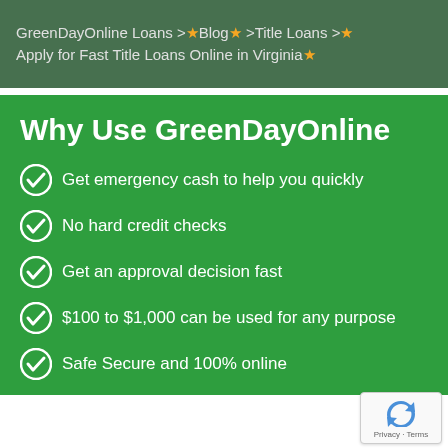GreenDayOnline Loans > ★ Blog ★ >Title Loans > ★ Apply for Fast Title Loans Online in Virginia ★
Why Use GreenDayOnline
Get emergency cash to help you quickly
No hard credit checks
Get an approval decision fast
$100 to $1,000 can be used for any purpose
Safe Secure and 100% online
[Figure (logo): reCAPTCHA logo badge with privacy and terms text]